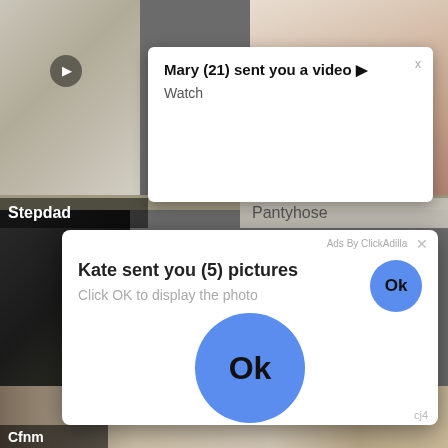[Figure (screenshot): Background of adult video thumbnail grid with blurred/colored cells]
Stepdad
Pantyhose
Cfnm
Mary (21) sent you a video ▶
Watch
Ads By ClickAdilla  ×
Kate sent you (5) pictures
Click OK to display the photo
Ok
Ok
cj4